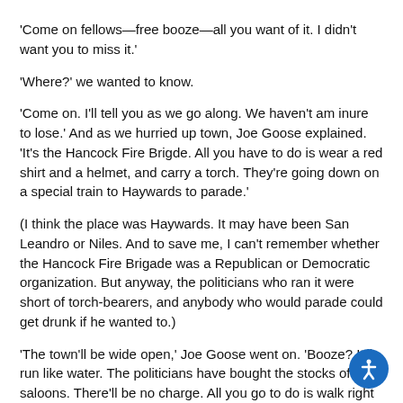'Come on fellows—free booze—all you want of it. I didn't want you to miss it.'
'Where?' we wanted to know.
'Come on. I'll tell you as we go along. We haven't am inure to lose.' And as we hurried up town, Joe Goose explained. 'It's the Hancock Fire Brigde. All you have to do is wear a red shirt and a helmet, and carry a torch. They're going down on a special train to Haywards to parade.'
(I think the place was Haywards. It may have been San Leandro or Niles. And to save me, I can't remember whether the Hancock Fire Brigade was a Republican or Democratic organization. But anyway, the politicians who ran it were short of torch-bearers, and anybody who would parade could get drunk if he wanted to.)
'The town'll be wide open,' Joe Goose went on. 'Booze? It'll run like water. The politicians have bought the stocks of the saloons. There'll be no charge. All you go to do is walk right up and call for it. We'll raise hell.'"